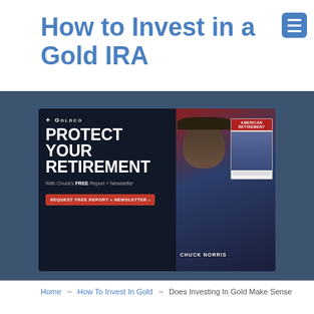How to Invest in a Gold IRA
[Figure (illustration): Goldco advertisement banner with 'PROTECT YOUR RETIREMENT' text, Chuck Norris image, American Retirement magazine cover, and a red 'REQUEST FREE REPORT + NEWSLETTER' button]
Home → How To Invest In Gold → Does Investing In Gold Make Sense